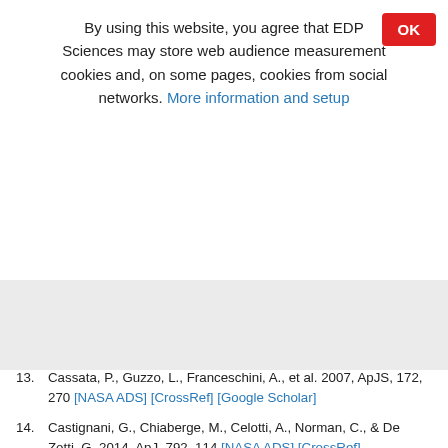By using this website, you agree that EDP Sciences may store web audience measurement cookies and, on some pages, cookies from social networks. More information and setup
13. Cassata, P., Guzzo, L., Franceschini, A., et al. 2007, ApJS, 172, 270 [NASA ADS] [CrossRef] [Google Scholar]
14. Castignani, G., Chiaberge, M., Celotti, A., Norman, C., & De Zotti, G. 2014, ApJ, 792, 114 [NASA ADS] [CrossRef] [Google Scholar]
15. Chiaberge, M., Tremblay, G., Capetti, A., et al. 2009, ApJ,